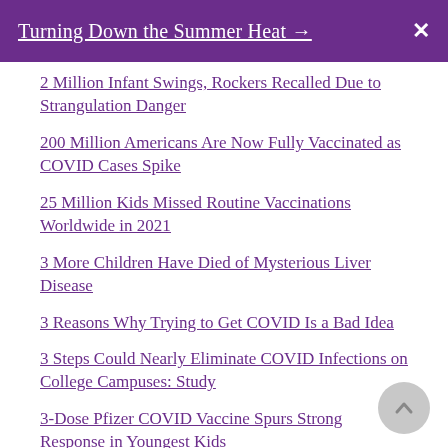Turning Down the Summer Heat →
2 Million Infant Swings, Rockers Recalled Due to Strangulation Danger
200 Million Americans Are Now Fully Vaccinated as COVID Cases Spike
25 Million Kids Missed Routine Vaccinations Worldwide in 2021
3 More Children Have Died of Mysterious Liver Disease
3 Reasons Why Trying to Get COVID Is a Bad Idea
3 Steps Could Nearly Eliminate COVID Infections on College Campuses: Study
3-Dose Pfizer COVID Vaccine Spurs Strong Response in Youngest Kids
4 in 10 Teens, Young Adults Have Used CBD Oil, Study Finds